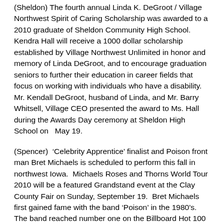(Sheldon) The fourth annual Linda K. DeGroot / Village Northwest Spirit of Caring Scholarship was awarded to a 2010 graduate of Sheldon Community High School.  Kendra Hall will receive a 1000 dollar scholarship established by Village Northwest Unlimited in honor and memory of Linda DeGroot, and to encourage graduation seniors to further their education in career fields that focus on working with individuals who have a disability.  Mr. Kendall DeGroot, husband of Linda, and Mr. Barry Whitsell, Village CEO presented the award to Ms. Hall during the Awards Day ceremony at Sheldon High School on   May 19.
(Spencer)  'Celebrity Apprentice' finalist and Poison front man Bret Michaels is scheduled to perform this fall in northwest Iowa.  Michaels Roses and Thorns World Tour 2010 will be a featured Grandstand event at the Clay County Fair on Sunday, September 19.  Bret Michaels first gained fame with the band 'Poison' in the 1980's.  The band reached number one on the Billboard Hot 100 in 1988 with "Every Rose Has It's Thorn."  Other top chart singles include, "Unskinny Bop", "I Want Action" and "Something To Believe In."  In